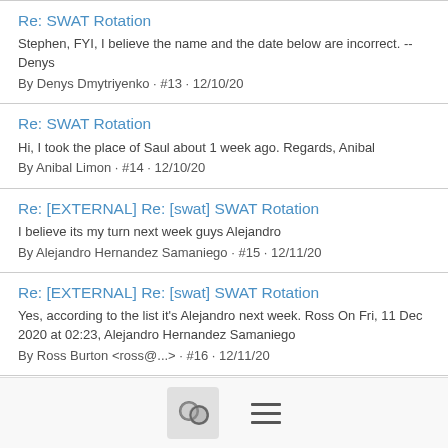Re: SWAT Rotation
Stephen, FYI, I believe the name and the date below are incorrect. -- Denys
By Denys Dmytriyenko · #13 · 12/10/20
Re: SWAT Rotation
Hi, I took the place of Saul about 1 week ago. Regards, Anibal
By Anibal Limon · #14 · 12/10/20
Re: [EXTERNAL] Re: [swat] SWAT Rotation
I believe its my turn next week guys Alejandro
By Alejandro Hernandez Samaniego · #15 · 12/11/20
Re: [EXTERNAL] Re: [swat] SWAT Rotation
Yes, according to the list it's Alejandro next week. Ross On Fri, 11 Dec 2020 at 02:23, Alejandro Hernandez Samaniego
By Ross Burton <ross@...> · #16 · 12/11/20
Yocto SWAT team